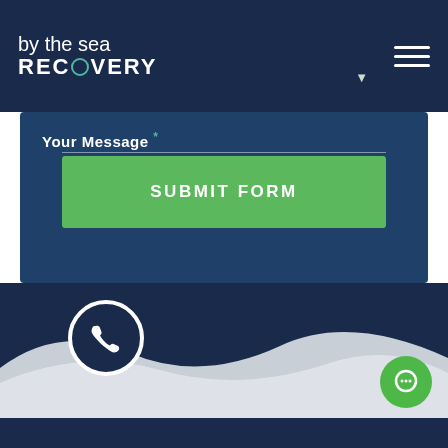by the sea RECOVERY
Your Message *
SUBMIT FORM
[Figure (illustration): Wave shape decorative footer with phone call button circle on left and green chat bubble button on right]